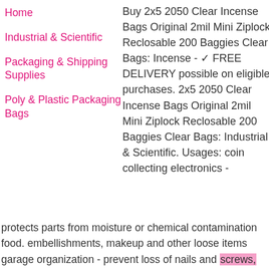Home
Industrial & Scientific
Packaging & Shipping Supplies
Poly & Plastic Packaging Bags
Buy 2x5 2050 Clear Incense Bags Original 2mil Mini Ziplock Reclosable 200 Baggies Clear Bags: Incense - ✓ FREE DELIVERY possible on eligible purchases. 2x5 2050 Clear Incense Bags Original 2mil Mini Ziplock Reclosable 200 Baggies Clear Bags: Industrial & Scientific. Usages: coin collecting electronics - protects parts from moisture or chemical contamination food. embellishments, makeup and other loose items garage organization - prevent loss of nails and screws, candy store and garage cables - keeps loose cords